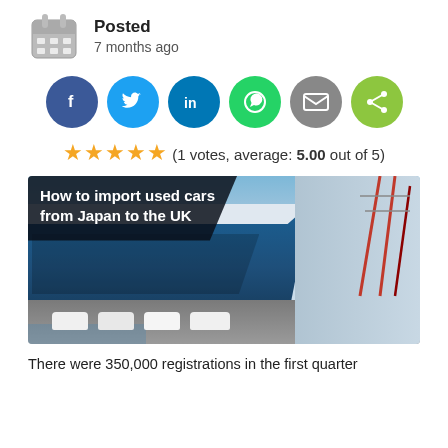Posted
7 months ago
[Figure (infographic): Six social sharing buttons in circles: Facebook (dark blue, f), Twitter (light blue, bird), LinkedIn (teal, in), WhatsApp (green, phone), Email (grey, envelope), Share (green, share icon)]
(1 votes, average: 5.00 out of 5)
[Figure (photo): Photo of a large blue car carrier ship docked at a port with cranes in the background. White cars are being driven off the ship. Overlay text reads: How to import used cars from Japan to the UK]
There were 350,000 registrations in the first quarter